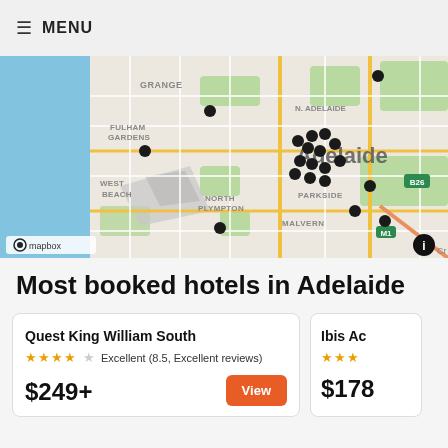≡ MENU
[Figure (map): Mapbox map of Adelaide, Australia showing hotel locations as dark pins clustered around the city centre. Suburbs visible include Grange, Fulham Gardens, West Beach, North Plympton, North Adelaide, Adelaide (CBD), Parkside, Malvern. Road markers B26 and M1 visible. Mapbox logo and info icon in corners.]
Most booked hotels in Adelaide
Quest King William South
★★★★☆  Excellent (8.5, Excellent reviews)
$249+
Ibis Ac...
★★★
$178